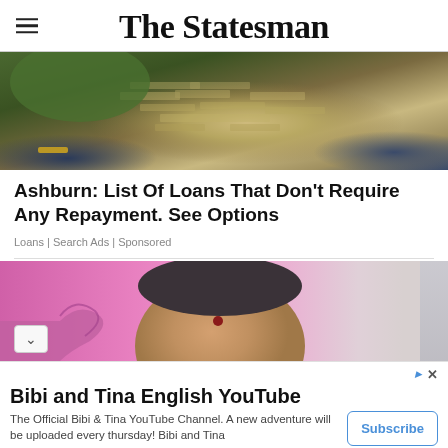The Statesman
[Figure (photo): Person lying on pile of banknotes/cash, wearing green jacket and jeans]
Ashburn: List Of Loans That Don't Require Any Repayment. See Options
Loans | Search Ads | Sponsored
[Figure (photo): Close-up of elderly Indian woman's face with bindi, wearing pink/magenta saree]
[Figure (infographic): Advertisement banner: Bibi and Tina English YouTube channel ad with Subscribe button]